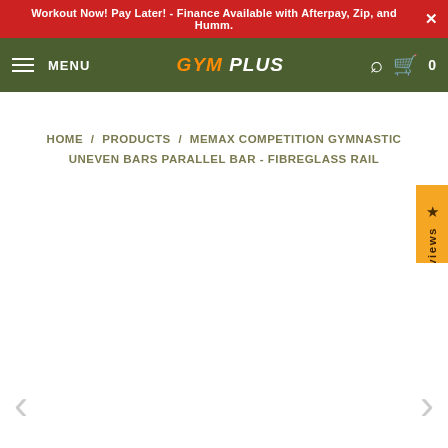Workout Now! Pay Later! - Finance Available with Afterpay, Zip, and Humm.
MENU  GYM PLUS  [search] [cart] 0
HOME / PRODUCTS / MEMAX COMPETITION GYMNASTIC UNEVEN BARS PARALLEL BAR - FIBREGLASS RAIL
[Figure (other): Orange Reviews tab on right side with star icon and rotated text 'Reviews']
[Figure (other): Product image carousel area with left and right navigation arrows]